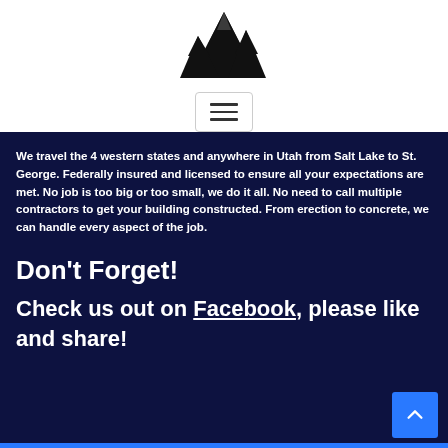[Figure (logo): Mountain peak silhouette logo in black]
[Figure (screenshot): Hamburger menu button with three horizontal lines]
We travel the 4 western states and anywhere in Utah from Salt Lake to St. George. Federally insured and licensed to ensure all your expectations are met. No job is too big or too small, we do it all. No need to call multiple contractors to get your building constructed. From erection to concrete, we can handle every aspect of the job.
Don't Forget!
Check us out on Facebook, please like and share!